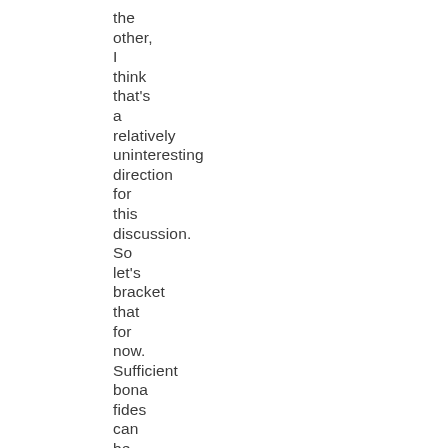the other, I think that's a relatively uninteresting direction for this discussion. So let's bracket that for now. Sufficient bona fides can be established for both sides